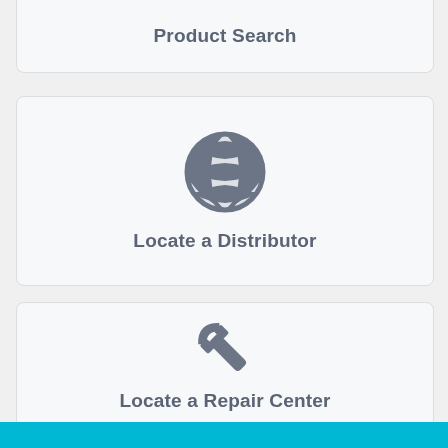[Figure (illustration): Product Search icon (magnifying glass with wrench handle) with label 'Product Search']
[Figure (illustration): Globe/world icon with latitude and longitude grid lines with label 'Locate a Distributor']
[Figure (illustration): Wrench/spanner icon with label 'Locate a Repair Center']